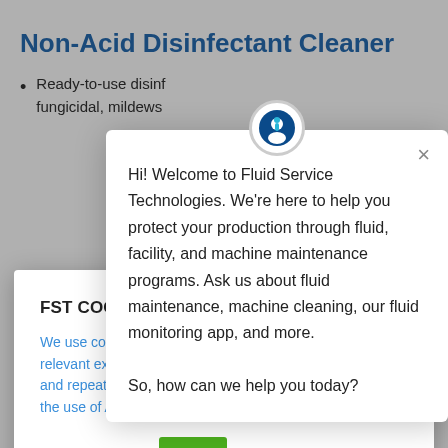Non-Acid Disinfectant Cleaner
Ready-to-use disinfectant, bactericidal, fungicidal, mildews...
for cleaning, disinfecting, deodorizing, sanitizing, and disinfecting all types of surfaces including food contact surfaces. Kills 99.9% of bacteria in 60
FST COOKIE NOTICE
We use cookies on our relevant experience by and repeat visits. By cli the use of ALL the cook
Cookie settings  ACCE
Hi! Welcome to Fluid Service Technologies. We're here to help you protect your production through fluid, facility, and machine maintenance programs. Ask us about fluid maintenance, machine cleaning, our fluid monitoring app, and more.

So, how can we help you today?